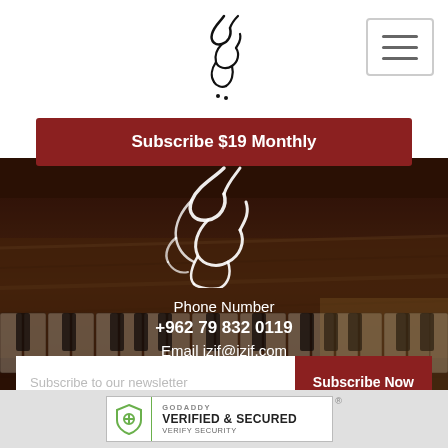[Figure (logo): Arabic calligraphy logo (izif) in black on white header]
[Figure (illustration): Hamburger menu button (three horizontal lines) in top-right corner]
Subscribe $19 Monthly
[Figure (illustration): Large white Arabic calligraphy logo overlaid on piano keys background photo]
Phone Number
+962 79 832 0119
Email izif@izif.com
Subscribe to our newsletter
Subscribe Now
[Figure (illustration): Social media icons row: YouTube, Instagram, Twitter, Facebook — white circles with colored icons]
[Figure (illustration): GoDaddy Verified & Secured badge at bottom]